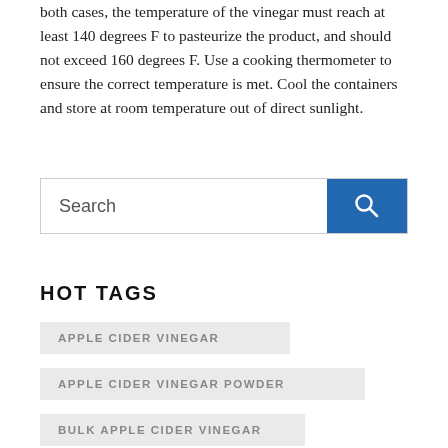both cases, the temperature of the vinegar must reach at least 140 degrees F to pasteurize the product, and should not exceed 160 degrees F. Use a cooking thermometer to ensure the correct temperature is met. Cool the containers and store at room temperature out of direct sunlight.
[Figure (other): Search bar with text input showing placeholder 'Search' and a blue search button with magnifying glass icon]
HOT TAGS
APPLE CIDER VINEGAR
APPLE CIDER VINEGAR POWDER
BULK APPLE CIDER VINEGAR